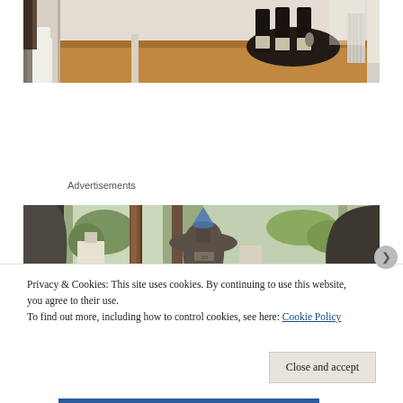[Figure (photo): Indoor dining room photo showing dark wooden table and chairs, white chair on left, radiator on right, hardwood floors]
Advertisements
[Figure (photo): Shop interior photo showing vintage mannequin torso with blue cone/funnel on top, wooden post divider, view through windows to exterior street]
Privacy & Cookies: This site uses cookies. By continuing to use this website, you agree to their use.
To find out more, including how to control cookies, see here: Cookie Policy
Close and accept